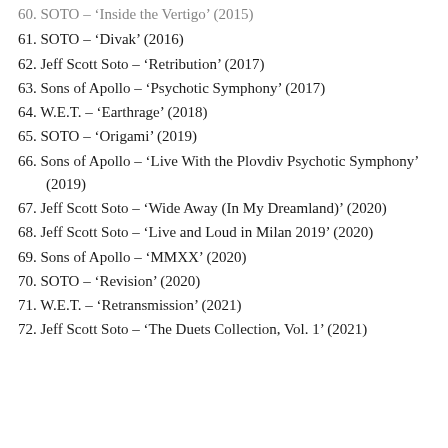60. SOTO – 'Inside the Vertigo' (2015)
61. SOTO – 'Divak' (2016)
62. Jeff Scott Soto – 'Retribution' (2017)
63. Sons of Apollo – 'Psychotic Symphony' (2017)
64. W.E.T. – 'Earthrage' (2018)
65. SOTO – 'Origami' (2019)
66. Sons of Apollo – 'Live With the Plovdiv Psychotic Symphony' (2019)
67. Jeff Scott Soto – 'Wide Away (In My Dreamland)' (2020)
68. Jeff Scott Soto – 'Live and Loud in Milan 2019' (2020)
69. Sons of Apollo – 'MMXX' (2020)
70. SOTO – 'Revision' (2020)
71. W.E.T. – 'Retransmission' (2021)
72. Jeff Scott Soto – 'The Duets Collection, Vol. 1' (2021)